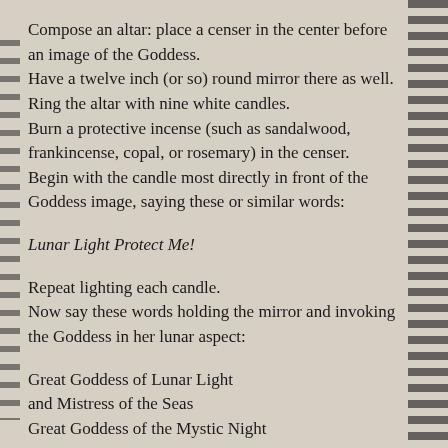Compose an altar: place a censer in the center before an image of the Goddess. Have a twelve inch (or so) round mirror there as well. Ring the altar with nine white candles. Burn a protective incense (such as sandalwood, frankincense, copal, or rosemary) in the censer. Begin with the candle most directly in front of the Goddess image, saying these or similar words:
Lunar Light Protect Me!
Repeat lighting each candle. Now say these words holding the mirror and invoking the Goddess in her lunar aspect:
Great Goddess of Lunar Light
and Mistress of the Seas
Great Goddess of the Mystic Night